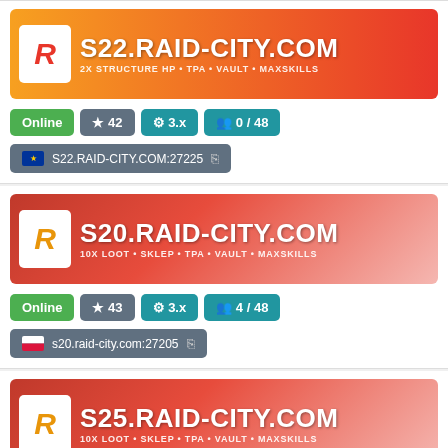[Figure (screenshot): Partial server listing for S21.RAID-CITY.COM:27215 at top]
[Figure (screenshot): Server card for S22.RAID-CITY.COM with orange-red banner, 2X STRUCTURE HP TPA VAULT MAXSKILLS, Online, 42 stars, version 3.x, 0/48 players, address S22.RAID-CITY.COM:27225]
[Figure (screenshot): Server card for S20.RAID-CITY.COM with red-pink banner, 10X LOOT SKLEP TPA VAULT MAXSKILLS, Online, 43 stars, version 3.x, 4/48 players, address s20.raid-city.com:27205]
[Figure (screenshot): Server card for S25.RAID-CITY.COM with red-pink banner, 10X LOOT SKLEP TPA VAULT MAXSKILLS, Online, 44 stars, version 3.x, 0/48 players locked]